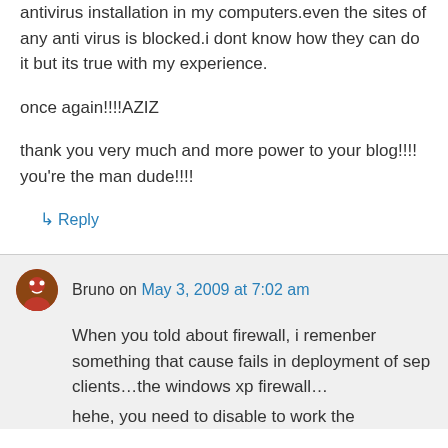antivirus installation in my computers.even the sites of any anti virus is blocked.i dont know how they can do it but its true with my experience.
once again!!!!AZIZ
thank you very much and more power to your blog!!!!
you're the man dude!!!!
↳ Reply
Bruno on May 3, 2009 at 7:02 am
When you told about firewall, i remenber something that cause fails in deployment of sep clients…the windows xp firewall… hehe, you need to disable to work the